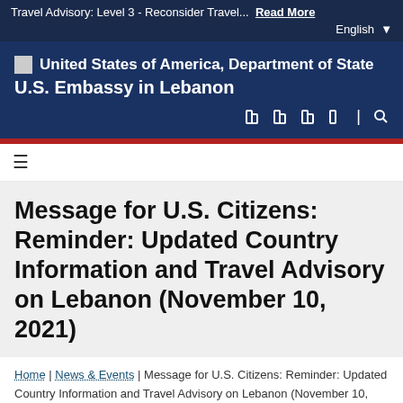Travel Advisory: Level 3 - Reconsider Travel...  Read More  English
[Figure (logo): United States of America, Department of State seal/logo placeholder]
United States of America, Department of State U.S. Embassy in Lebanon
[Figure (infographic): Social media icons row: Facebook, Twitter, YouTube, Flickr, search]
≡
Message for U.S. Citizens: Reminder: Updated Country Information and Travel Advisory on Lebanon (November 10, 2021)
Home | News & Events | Message for U.S. Citizens: Reminder: Updated Country Information and Travel Advisory on Lebanon (November 10, 2021)